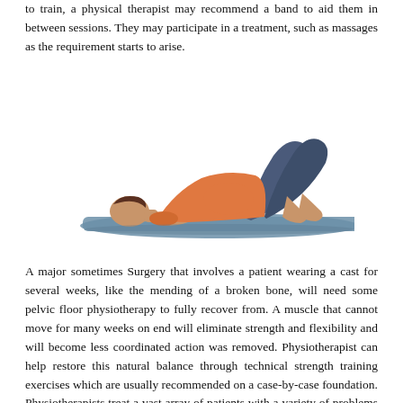to train, a physical therapist may recommend a band to aid them in between sessions. They may participate in a treatment, such as massages as the requirement starts to arise.
[Figure (photo): A woman performing a bridge yoga/physiotherapy pose on a blue yoga mat, lying on her back with hips raised, wearing an orange top and dark blue leggings.]
A major sometimes Surgery that involves a patient wearing a cast for several weeks, like the mending of a broken bone, will need some pelvic floor physiotherapy to fully recover from. A muscle that cannot move for many weeks on end will eliminate strength and flexibility and will become less coordinated action was removed. Physiotherapist can help restore this natural balance through technical strength training exercises which are usually recommended on a case-by-case foundation. Physiotherapists treat a vast array of patients with a variety of problems their sick them. No two days at the working life of somebody involved in this sort of physical therapy are typically the same and anybody who is interested in helping individuals in a really profound manner on a